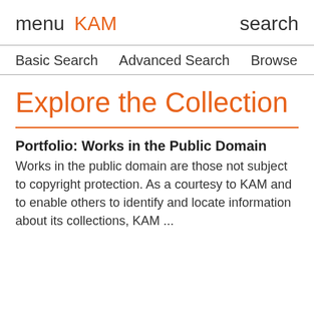menu KAM search
Basic Search   Advanced Search   Browse
Explore the Collection
Portfolio: Works in the Public Domain
Works in the public domain are those not subject to copyright protection. As a courtesy to KAM and to enable others to identify and locate information about its collections, KAM ...